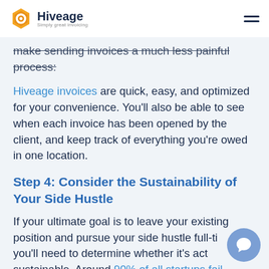Hiveage — Simply great invoicing
make sending invoices a much less painful process:
Hiveage invoices are quick, easy, and optimized for your convenience. You'll also be able to see when each invoice has been opened by the client, and keep track of everything you're owed in one location.
Step 4: Consider the Sustainability of Your Side Hustle
If your ultimate goal is to leave your existing position and pursue your side hustle full-time, you'll need to determine whether it's actually sustainable. Around 90% of all startups fail,